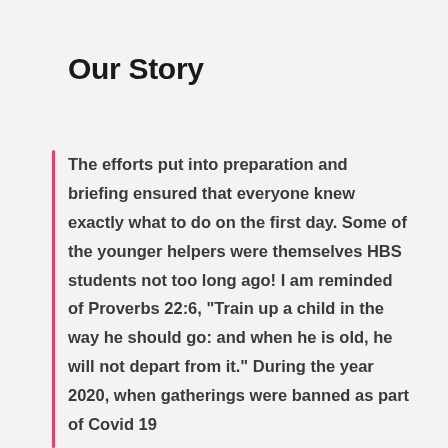Our Story
The efforts put into preparation and briefing ensured that everyone knew exactly what to do on the first day. Some of the younger helpers were themselves HBS students not too long ago! I am reminded of Proverbs 22:6, “Train up a child in the way he should go: and when he is old, he will not depart from it.” During the year 2020, when gatherings were banned as part of Covid 19